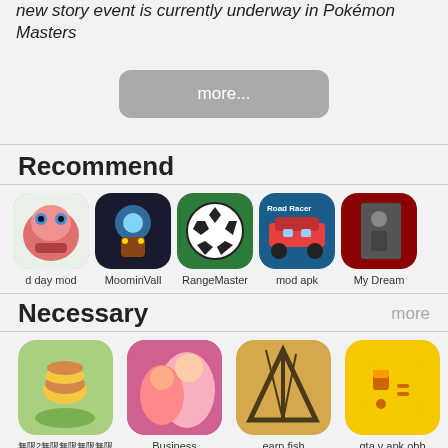new story event is currently underway in Pokémon Masters
[Figure (other): more... button]
Recommend
[Figure (other): App icons row: d day mod, MoominVall, RangeMaster, mod apk, My Dream]
Necessary
[Figure (other): App icons grid row 1: 無限2無限無限無限無限無限, Business, earn fish, gta v apk obb]
[Figure (other): App icons grid row 2: partial row]